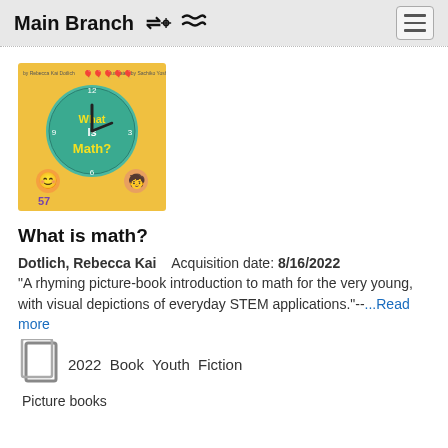Main Branch
[Figure (illustration): Book cover for 'What is Math?' showing a colorful illustrated clock face and children with math elements]
What is math?
Dotlich, Rebecca Kai    Acquisition date: 8/16/2022
"A rhyming picture-book introduction to math for the very young, with visual depictions of everyday STEM applications."--...Read more
2022  Book  Youth  Fiction
Picture books